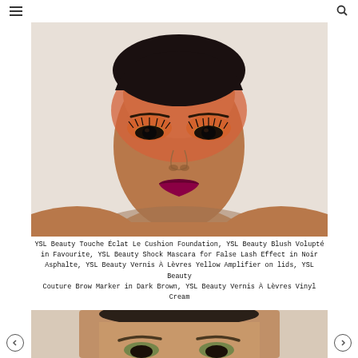[Figure (photo): Close-up portrait of a model with dramatic colorful makeup: orange-pink blush covering the eye area and forehead, yellow eyeshadow on lids, bold dark crimson lips, and styled short hair against a white background.]
YSL Beauty Touche Éclat Le Cushion Foundation, YSL Beauty Blush Volupté in Favourite, YSL Beauty Shock Mascara for False Lash Effect in Noir Asphalte, YSL Beauty Vernis À Lèvres Yellow Amplifier on lids, YSL Beauty Couture Brow Marker in Dark Brown, YSL Beauty Vernis À Lèvres Vinyl Cream
[Figure (photo): Partial view of a second model with green eyeshadow, defined brows, and warm-toned skin against a light background.]